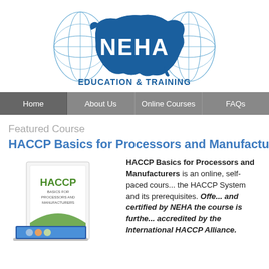[Figure (logo): NEHA Education & Training logo with globe and USA map graphic]
Home | About Us | Online Courses | FAQs
Featured Course
HACCP Basics for Processors and Manufacturers
[Figure (illustration): HACCP Basics for Processors and Manufacturers course box and laptop image]
HACCP Basics for Processors and Manufacturers is an online, self-paced course covering the HACCP System and its prerequisites. Offered and certified by NEHA the course is further accredited by the International HACCP Alliance.